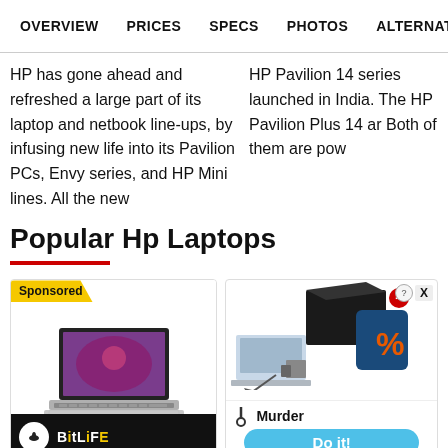OVERVIEW  PRICES  SPECS  PHOTOS  ALTERNATIVES
HP has gone ahead and refreshed a large part of its laptop and netbook line-ups, by infusing new life into its Pavilion PCs, Envy series, and HP Mini lines. All the new
HP Pavilion 14 series launched in India. The HP Pavilion Plus 14 ar Both of them are pow
Popular Hp Laptops
[Figure (photo): Sponsored card showing a laptop (HP Envy/Spectre style) from above-front angle with colorful display, silver body]
[Figure (photo): Advertisement showing a box with percentage symbol and software/hardware imagery, with a Murder game ad overlay showing 'Do it!' button]